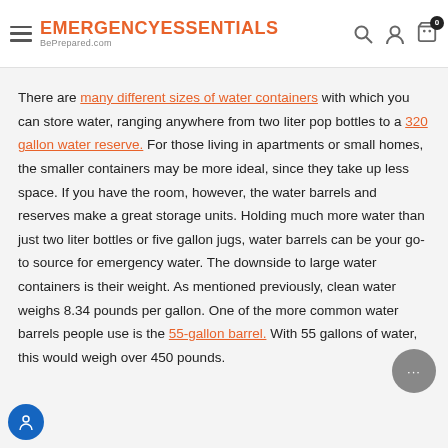Emergency Essentials BePrepared.com
There are many different sizes of water containers with which you can store water, ranging anywhere from two liter pop bottles to a 320 gallon water reserve. For those living in apartments or small homes, the smaller containers may be more ideal, since they take up less space. If you have the room, however, the water barrels and reserves make a great storage units. Holding much more water than just two liter bottles or five gallon jugs, water barrels can be your go-to source for emergency water. The downside to large water containers is their weight. As mentioned previously, clean water weighs 8.34 pounds per gallon. One of the more common water barrels people use is the 55-gallon barrel. With 55 gallons of water, this would weigh over 450 pounds.